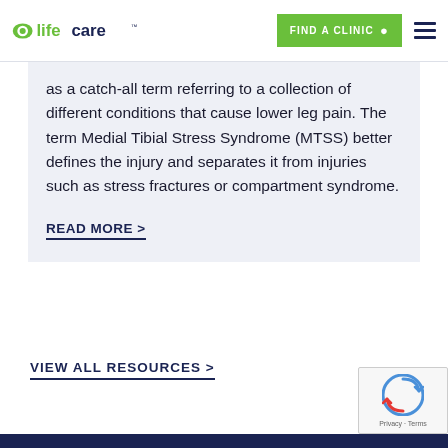lifecare | FIND A CLINIC
as a catch-all term referring to a collection of different conditions that cause lower leg pain. The term Medial Tibial Stress Syndrome (MTSS) better defines the injury and separates it from injuries such as stress fractures or compartment syndrome.
READ MORE >
VIEW ALL RESOURCES >
[Figure (logo): reCAPTCHA badge with spinning arrows logo and 'Privacy - Terms' text]